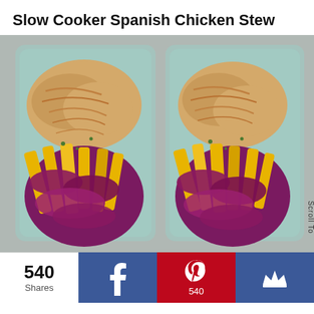Slow Cooker Spanish Chicken Stew
[Figure (photo): Two glass meal prep containers filled with shredded chicken on top and colorful slaw (red cabbage, yellow bell pepper strips, carrots, green onions) on the bottom, photographed from above on a gray surface. A 'Scroll To' watermark appears on the right side.]
540 Shares
[Figure (logo): Facebook share button (blue background, white f icon)]
[Figure (logo): Pinterest save button (red background, white P icon, 540 count)]
[Figure (logo): Crown/bookmark button (blue background, white crown icon)]